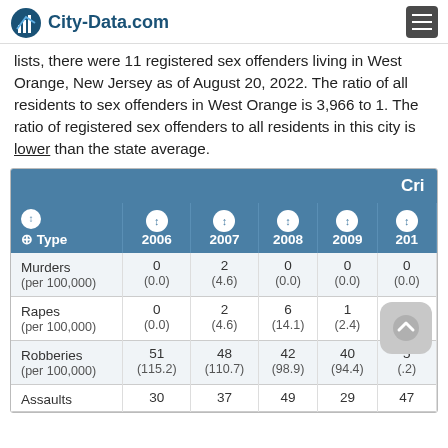City-Data.com
lists, there were 11 registered sex offenders living in West Orange, New Jersey as of August 20, 2022. The ratio of all residents to sex offenders in West Orange is 3,966 to 1. The ratio of registered sex offenders to all residents in this city is lower than the state average.
| Type | 2006 | 2007 | 2008 | 2009 | 2010... |
| --- | --- | --- | --- | --- | --- |
| Murders (per 100,000) | 0 (0.0) | 2 (4.6) | 0 (0.0) | 0 (0.0) | 0 (0.0) |
| Rapes (per 100,000) | 0 (0.0) | 2 (4.6) | 6 (14.1) | 1 (2.4) | 5 (11.7) |
| Robberies (per 100,000) | 51 (115.2) | 48 (110.7) | 42 (98.9) | 40 (94.4) | 5 (...2) |
| Assaults | 30 | 37 | 49 | 29 | 47 |